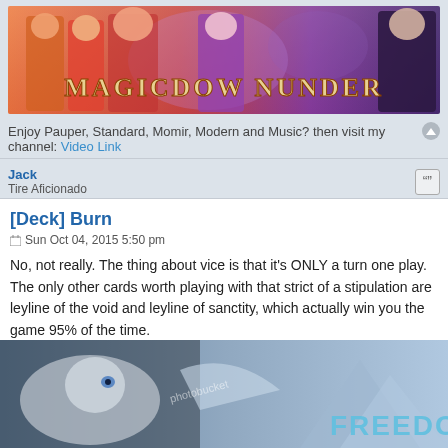[Figure (illustration): Anime/chibi style banner image with colorful characters and text 'MAGICDOW NUNDER']
Enjoy Pauper, Standard, Momir, Modern and Music? then visit my channel: Video Link
Jack
Tire Aficionado
[Deck] Burn
Sun Oct 04, 2015 5:50 pm
No, not really. The thing about vice is that it's ONLY a turn one play. The only other cards worth playing with that strict of a stipulation are leyline of the void and leyline of sanctity, which actually win you the game 95% of the time.
[Figure (illustration): Fantasy image with dragon/griffin creatures and 'FREEDOM' text, watermarked with photobucket]